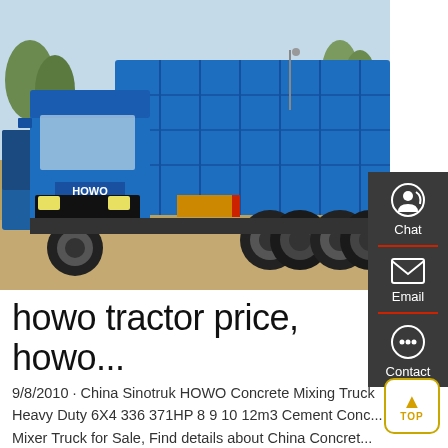[Figure (photo): Blue HOWO heavy-duty dump truck parked on dirt ground with trees in background, another blue truck visible on the left side]
howo tractor price, howo...
9/8/2010 · China Sinotruk HOWO Concrete Mixing Truck Heavy Duty 6X4 336 371HP 8 9 10 12m3 Cement Conc... Mixer Truck for Sale, Find details about China Concret...